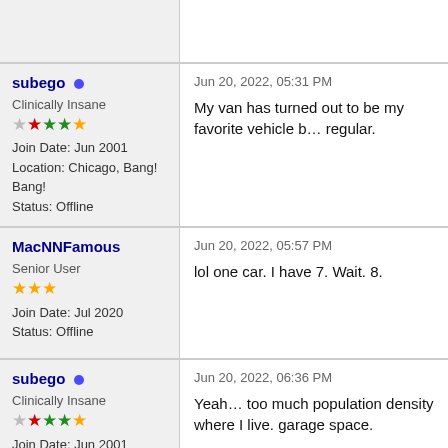subego — Jun 20, 2022, 05:31 PM — Clinically Insane — Join Date: Jun 2001 — Location: Chicago, Bang! Bang! — Status: Offline — My van has turned out to be my favorite vehicle b… regular.
MacNNFamous — Jun 20, 2022, 05:57 PM — Senior User — Join Date: Jul 2020 — Status: Offline — lol one car. I have 7. Wait. 8.
subego — Jun 20, 2022, 06:36 PM — Clinically Insane — Join Date: Jun 2001 — Location: Chicago, Bang! Bang! — Status: Offline — Yeah… too much population density where I live. garage space. — I generally take public transportation or walk. The… miles yet.